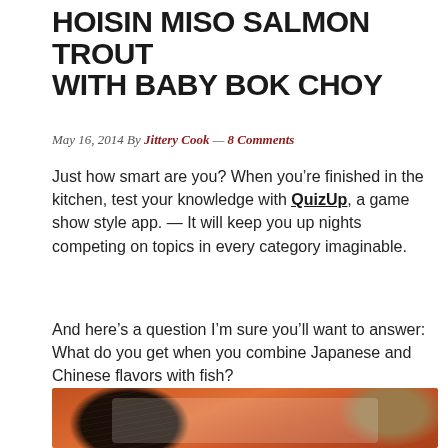HOISIN MISO SALMON TROUT WITH BABY BOK CHOY
May 16, 2014 By Jittery Cook — 8 Comments
Just how smart are you? When you're finished in the kitchen, test your knowledge with QuizUp, a game show style app. — It will keep you up nights competing on topics in every category imaginable.
And here's a question I'm sure you'll want to answer: What do you get when you combine Japanese and Chinese flavors with fish?
[Figure (photo): Raw salmon trout fillet on a white cutting board, with a small glass bowl of dark hoisin sauce on the left and a glass bowl of miso paste on the right, on a dark background.]